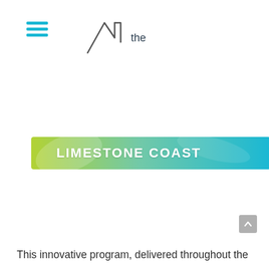[Figure (logo): Hamburger menu icon (three cyan horizontal lines) and a logo mark with text 'the' — website navigation header]
[Figure (infographic): Horizontal banner with green-to-cyan gradient background reading 'LIMESTONE COAST' in large white bold uppercase letters]
This innovative program, delivered throughout the